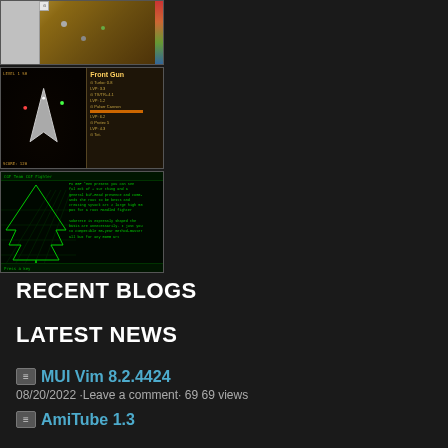[Figure (screenshot): Strategy game top-down view screenshot showing a map with units and terrain]
[Figure (screenshot): Space shooter game screenshot showing 'Front Gun' upgrade screen with stats]
[Figure (screenshot): Terminal/3D wireframe screenshot showing a green-on-black display with a tree shape and text]
RECENT BLOGS
LATEST NEWS
MUI Vim 8.2.4424
08/20/2022 ·Leave a comment· 69 69 views
AmiTube 1.3